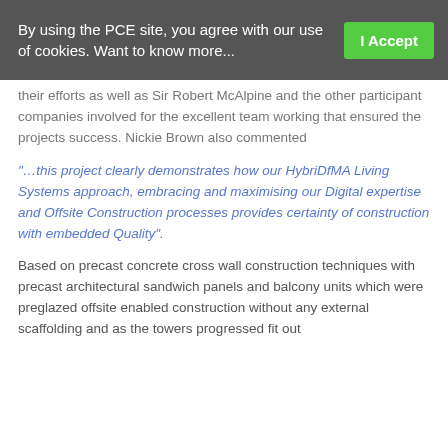By using the PCE site, you agree with our use of cookies. Want to know more... I Accept
their efforts as well as Sir Robert McAlpine and the other participant companies involved for the excellent team working that ensured the projects success. Nickie Brown also commented
"…this project clearly demonstrates how our HybriDfMA Living Systems approach, embracing and maximising our Digital expertise and Offsite Construction processes provides certainty of construction with embedded Quality".
Based on precast concrete cross wall construction techniques with precast architectural sandwich panels and balcony units which were preglazed offsite enabled construction without any external scaffolding and as the towers progressed fit out